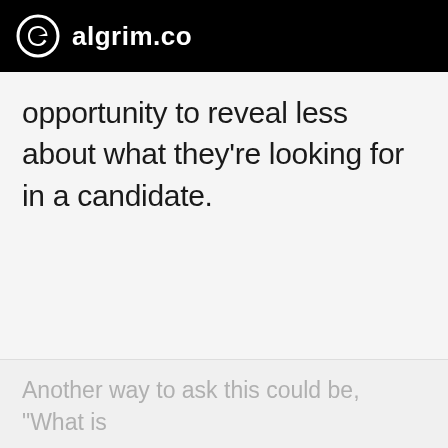algrim.co
opportunity to reveal less about what they're looking for in a candidate.
Another way to ask this could be, "What is